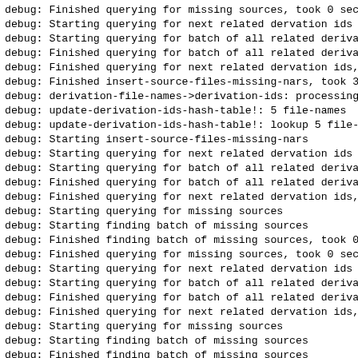debug: Finished querying for missing sources, took 0 sec
debug: Starting querying for next related dervation ids
debug: Starting querying for batch of all related deriva
debug: Finished querying for batch of all related deriva
debug: Finished querying for next related dervation ids,
debug: Finished insert-source-files-missing-nars, took 3
debug: derivation-file-names->derivation-ids: processing
debug: update-derivation-ids-hash-table!: 5 file-names
debug: update-derivation-ids-hash-table!: lookup 5 file-
debug: Starting insert-source-files-missing-nars
debug: Starting querying for next related dervation ids
debug: Starting querying for batch of all related deriva
debug: Finished querying for batch of all related deriva
debug: Finished querying for next related dervation ids,
debug: Starting querying for missing sources
debug: Starting finding batch of missing sources
debug: Finished finding batch of missing sources, took 0
debug: Finished querying for missing sources, took 0 sec
debug: Starting querying for next related dervation ids
debug: Starting querying for batch of all related deriva
debug: Finished querying for batch of all related deriva
debug: Finished querying for next related dervation ids,
debug: Starting querying for missing sources
debug: Starting finding batch of missing sources
debug: Finished finding batch of missing sources